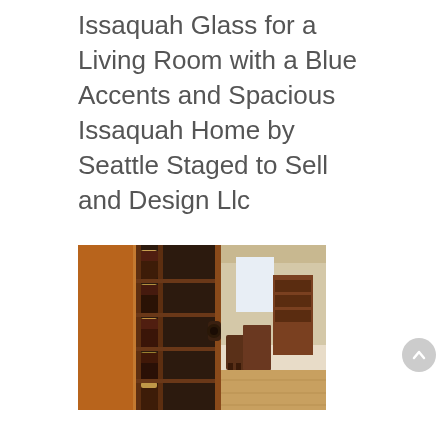Issaquah Glass for a Living Room with a Blue Accents and Spacious Issaquah Home by Seattle Staged to Sell and Design Llc
[Figure (photo): Interior photo showing a wine rack with multiple wine bottles on the left side and an open doorway leading to a spacious living room with hardwood floors and dining furniture on the right side.]